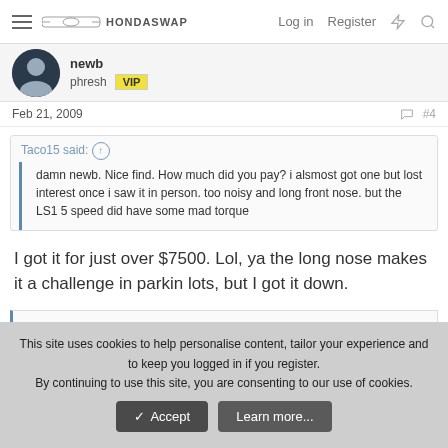HondaSwap — Log in  Register
newb
phresh VIP
Feb 21, 2009  #4
Taco15 said: damn newb. Nice find. How much did you pay? i alsmost got one but lost interest once i saw it in person. too noisy and long front nose. but the LS1 5 speed did have some mad torque
I got it for just over $7500. Lol, ya the long nose makes it a challenge in parkin lots, but I got it down.
This site uses cookies to help personalise content, tailor your experience and to keep you logged in if you register.
By continuing to use this site, you are consenting to our use of cookies.
✓ Accept   Learn more...